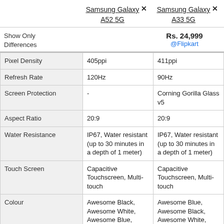Samsung Galaxy A52 5G × | Samsung Galaxy A33 5G ×
Show Only Differences
Rs. 24,999 @Flipkart
|  | Samsung Galaxy A52 5G | Samsung Galaxy A33 5G |
| --- | --- | --- |
| Pixel Density | 405ppi | 411ppi |
| Refresh Rate | 120Hz | 90Hz |
| Screen Protection | - | Corning Gorilla Glass v5 |
| Aspect Ratio | 20:9 | 20:9 |
| Water Resistance | IP67, Water resistant (up to 30 minutes in a depth of 1 meter) | IP67, Water resistant (up to 30 minutes in a depth of 1 meter) |
| Touch Screen | Capacitive Touchscreen, Multi-touch | Capacitive Touchscreen, Multi-touch |
| Colour | Awesome Black, Awesome White, Awesome Blue, Awesome Violet | Awesome Blue, Awesome Black, Awesome White, Awesome Peach |
| Hardware |  |  |
| Chipset | Qualcomm Snapdragon | Samsung Exynos 1280 |